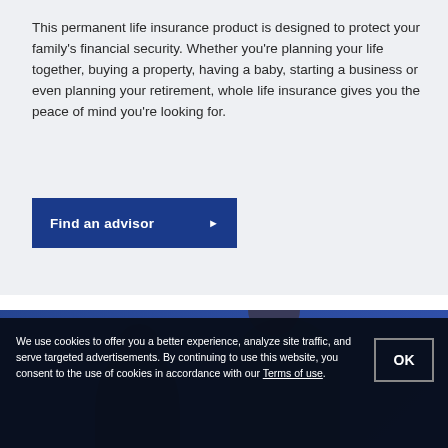This permanent life insurance product is designed to protect your family's financial security. Whether you're planning your life together, buying a property, having a baby, starting a business or even planning your retirement, whole life insurance gives you the peace of mind you're looking for.
Find an advisor ▶
[Figure (photo): Two people (a man and a woman) photographed from the shoulders up, with a blue color overlay on the image.]
We use cookies to offer you a better experience, analyze site traffic, and serve targeted advertisements. By continuing to use this website, you consent to the use of cookies in accordance with our Terms of use.